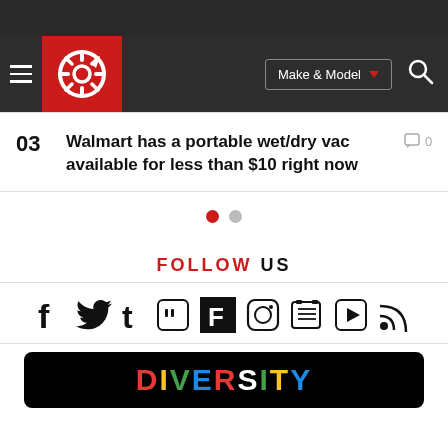[Figure (screenshot): Dark navigation bar with hamburger menu, red logo (circular gear icon), Make & Model dropdown button, and search icon]
03 Walmart has a portable wet/dry vac available for less than $10 right now
[Figure (other): Pagination dots: one red (active) and one grey (inactive)]
FOLLOW US
[Figure (other): Row of social media icons: Facebook, Twitter, Tumblr, Twitch, Flipboard, Instagram, News, YouTube, RSS]
[Figure (other): Black card with colorful DIVERSITY text at bottom of page]